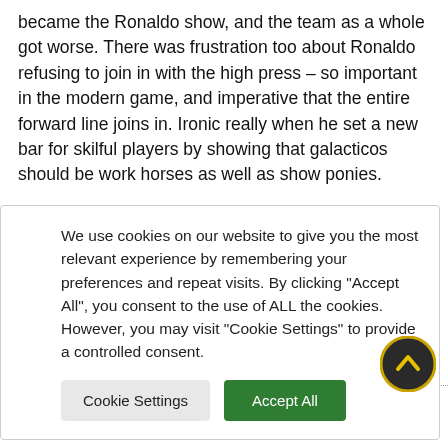became the Ronaldo show, and the team as a whole got worse. There was frustration too about Ronaldo refusing to join in with the high press – so important in the modern game, and imperative that the entire forward line joins in. Ironic really when he set a new bar for skilful players by showing that galacticos should be work horses as well as show ponies.
season – for now
Wolves but
We use cookies on our website to give you the most relevant experience by remembering your preferences and repeat visits. By clicking "Accept All", you consent to the use of ALL the cookies. However, you may visit "Cookie Settings" to provide a controlled consent.
Cookie Settings | Accept All
We